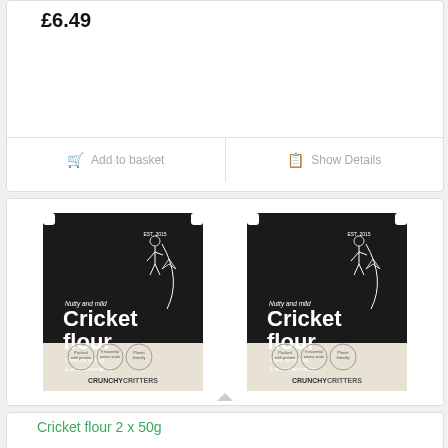£6.49
Add to basket
Show Details
[Figure (photo): Two black and cream packages of 'Cricket flour' by Crunchy Critters, side by side. Each package shows 'Nutty and mild' text, 'Cricket flour' in large white letters, 'Great for baking & smoothie-making', three circular badges: 'Packed with protein', 'Essential amino acids', 'Planet friendly', and the CRUNCHY CRITTERS brand name. An illustrated figure of a cricket appears on each package.]
Cricket flour 2 x 50g